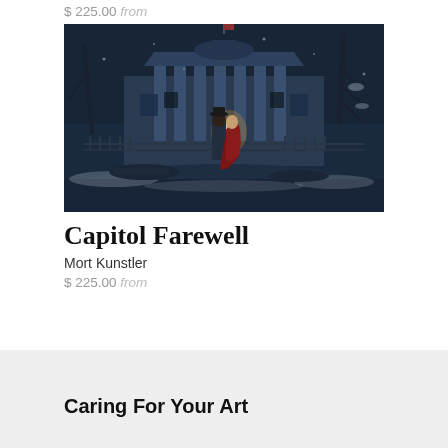$ 225.00 from
[Figure (illustration): Painting titled Capitol Farewell by Mort Kunstler showing a man and woman in Civil War era clothing standing before a large white columned building at night in winter snow, with a warm glowing light between them and snowy trees to the right.]
Capitol Farewell
Mort Kunstler
$ 225.00 from
Caring For Your Art